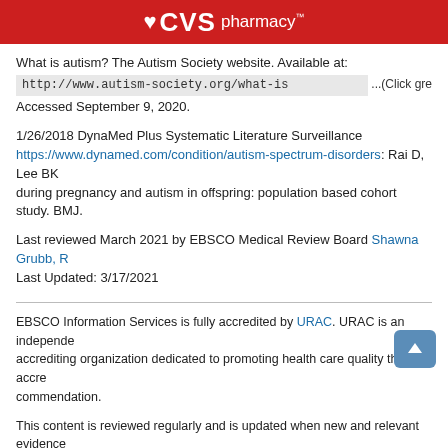CVS pharmacy™
What is autism? The Autism Society website. Available at: http://www.autism-society.org/what-is ...(Click gre Accessed September 9, 2020.
1/26/2018 DynaMed Plus Systematic Literature Surveillance https://www.dynamed.com/condition/autism-spectrum-disorders: Rai D, Lee BK during pregnancy and autism in offspring: population based cohort study. BMJ.
Last reviewed March 2021 by EBSCO Medical Review Board Shawna Grubb, R Last Updated: 3/17/2021
EBSCO Information Services is fully accredited by URAC. URAC is an independent accrediting organization dedicated to promoting health care quality through accreditation commendation.
This content is reviewed regularly and is updated when new and relevant evidence information is neither intended nor implied to be a substitute for professional medical the advice of your physician or other qualified health provider prior to starting any questions regarding a medical condition.
To send comments or feedback to our Editorial Team regarding the content please healthlibrarysupport@ebsco.com. Our Health Library Support team will respond t